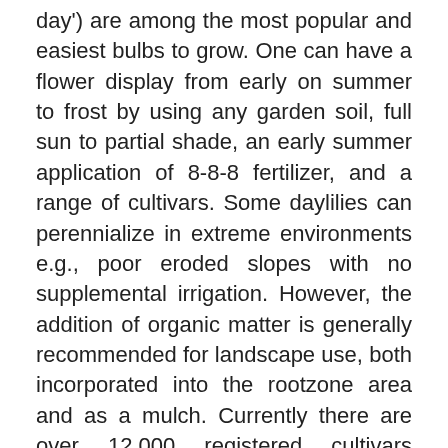day') are among the most popular and easiest bulbs to grow. One can have a flower display from early on summer to frost by using any garden soil, full sun to partial shade, an early summer application of 8-8-8 fertilizer, and a range of cultivars. Some daylilies can perennialize in extreme environments e.g., poor eroded slopes with no supplemental irrigation. However, the addition of organic matter is generally recommended for landscape use, both incorporated into the rootzone area and as a mulch. Currently there are over 12,000 registered cultivars representing almost the entire spectrum of the rainbow (Pure blue and pure white are the only two colors not available.). Daylilies are excellent for use in the perennial garden as taller background plants, in naturalized settings, or even the cutting garden. Hardy through zone 3, daylilies are adapted to all regions of North Carolina and do not require winter storage. Propagation is usually by division of clumps either in the fall or early spring using plantings that are 2 to 3 years old. Each clump should have 3 shoots with